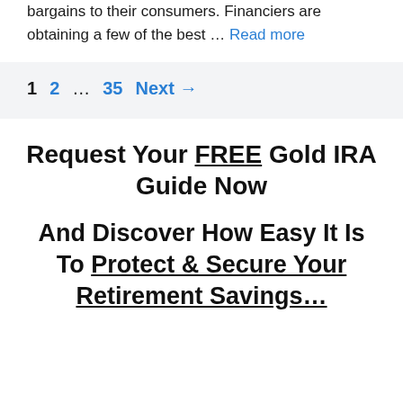bargains to their consumers. Financiers are obtaining a few of the best … Read more
1  2  …  35  Next →
Request Your FREE Gold IRA Guide Now
And Discover How Easy It Is To Protect & Secure Your Retirement Savings...